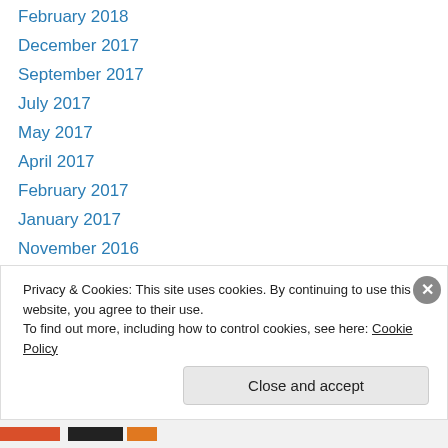February 2018
December 2017
September 2017
July 2017
May 2017
April 2017
February 2017
January 2017
November 2016
October 2016
August 2016
June 2016
May 2016
Privacy & Cookies: This site uses cookies. By continuing to use this website, you agree to their use. To find out more, including how to control cookies, see here: Cookie Policy
Close and accept